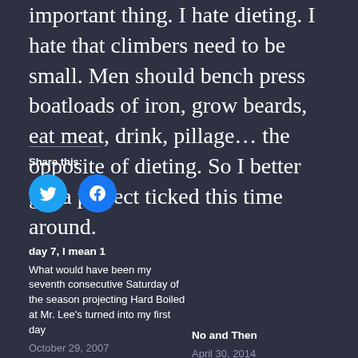important thing. I hate dieting. I hate that climbers need to be small. Men should bench press boatloads of iron, grow beards, eat meat, drink, pillage… the opposite of dieting. So I better get a project ticked this time around.
Share this:
[Figure (illustration): Two circular social media share buttons: Twitter (blue) and Facebook (blue)]
day 7, I mean 1
What would have been my seventh consecutive Saturday of the season projecting Hard Boiled at Mr. Lee's turned into my first day
October 29, 2007
In "Hard Boiled"
No and Then
April 30, 2014
In "Buddhist Palm"